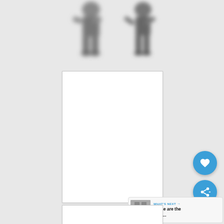[Figure (illustration): Two blurred robotic or mechanical figures shown from behind, on a grey background, at the top of the page]
[Figure (photo): A blank white rectangular card/image placeholder with a light grey border — main content area]
[Figure (screenshot): UI overlay elements: a circular blue heart/favorite button and a circular blue share button on the right side of the page]
[Figure (screenshot): A 'WHAT'S NEXT' recommendation panel in the bottom-right corner showing a thumbnail with a shield/crest icon and the text 'These are the Best...']
[Figure (photo): A partial blank white rectangular card/image placeholder visible at the very bottom of the page]